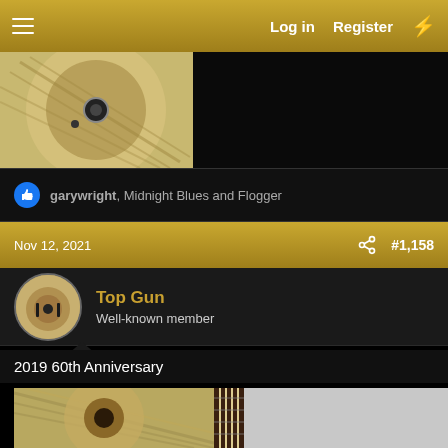Log in  Register
[Figure (photo): Close-up photo of a guitar body showing flame maple top, partial view]
garywright, Midnight Blues and Flogger
Nov 12, 2021    #1,158
Top Gun
Well-known member
2019 60th Anniversary
[Figure (photo): Photo of a 2019 60th Anniversary guitar showing flame maple body and fretboard]